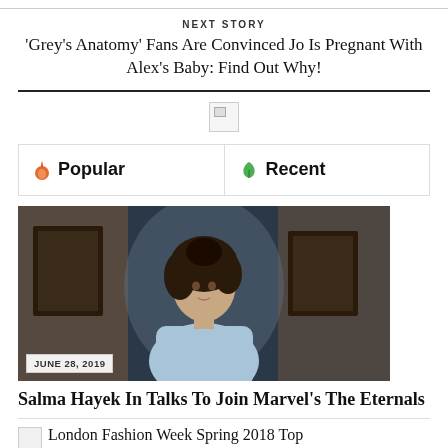NEXT STORY
'Grey's Anatomy' Fans Are Convinced Jo Is Pregnant With Alex's Baby: Find Out Why!
[Figure (other): Broken/unloaded image placeholder]
Popular
Recent
[Figure (photo): Dark-toned photo of a woman with dark curly hair wearing a light blue top, looking forward. Date badge: JUNE 28, 2019]
Salma Hayek In Talks To Join Marvel's The Eternals
London Fashion Week Spring 2018 Top Runway Looks